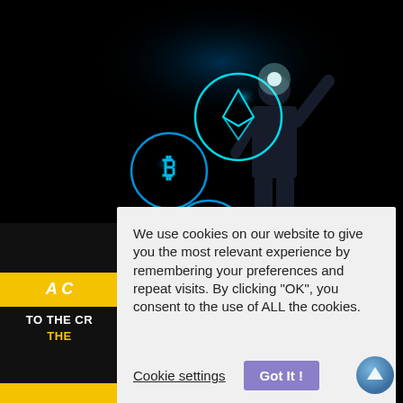[Figure (illustration): Dark background image showing a businessman in a suit pointing at glowing cryptocurrency icons (Bitcoin, Ethereum, Ripple) floating in the air against a black background.]
[Figure (illustration): Partial book cover with yellow bar showing text 'A C' and 'TO THE CR' and 'THE' in white bold font on dark background, with yellow bars at top and bottom of visible cover portion.]
We use cookies on our website to give you the most relevant experience by remembering your preferences and repeat visits. By clicking “OK”, you consent to the use of ALL the cookies.
Cookie settings  Got It !